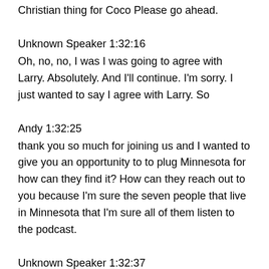Christian thing for Coco Please go ahead.
Unknown Speaker 1:32:16
Oh, no, no, I was I was going to agree with Larry. Absolutely. And I'll continue. I'm sorry. I just wanted to say I agree with Larry. So
Andy 1:32:25
thank you so much for joining us and I wanted to give you an opportunity to to plug Minnesota for how can they find it? How can they reach out to you because I'm sure the seven people that live in Minnesota that I'm sure all of them listen to the podcast.
Unknown Speaker 1:32:37